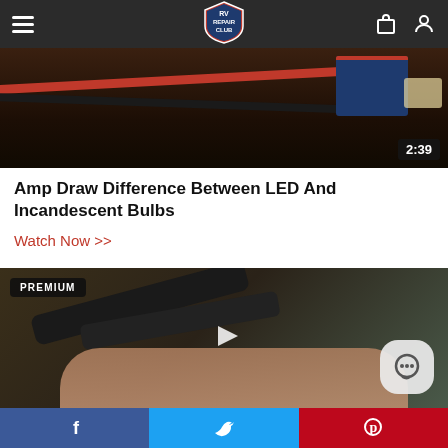RV Repair Club navigation bar
[Figure (screenshot): Video thumbnail showing wires (red and black) on a dark surface with a blue component box. Duration badge shows 2:39.]
Amp Draw Difference Between LED And Incandescent Bulbs
Watch Now >>
[Figure (screenshot): Premium video thumbnail showing a hand holding a black tool/hinge component. PREMIUM badge in top left corner, play button in center, chat button in bottom right.]
Facebook  Twitter  Pinterest